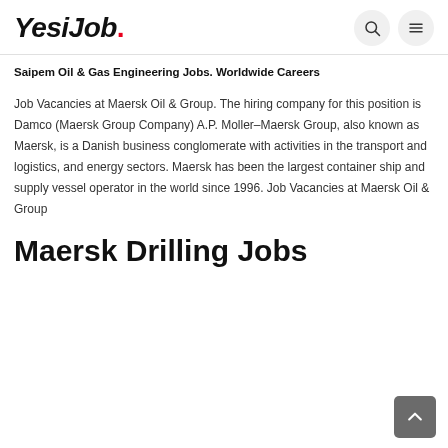YesiJob.
Saipem Oil & Gas Engineering Jobs. Worldwide Careers
Job Vacancies at Maersk Oil & Group. The hiring company for this position is Damco (Maersk Group Company) A.P. Moller–Maersk Group, also known as Maersk, is a Danish business conglomerate with activities in the transport and logistics, and energy sectors. Maersk has been the largest container ship and supply vessel operator in the world since 1996. Job Vacancies at Maersk Oil & Group
Maersk Drilling Jobs